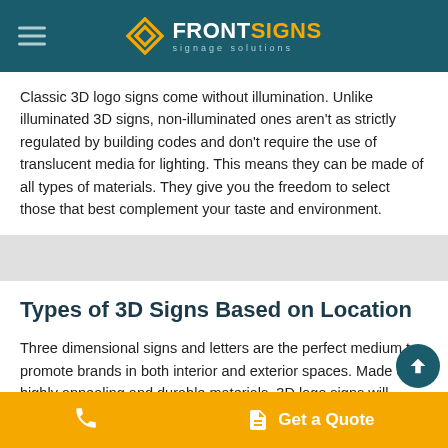FRONT SIGNS signage solutions
Classic 3D logo signs come without illumination. Unlike illuminated 3D signs, non-illuminated ones aren't as strictly regulated by building codes and don't require the use of translucent media for lighting. This means they can be made of all types of materials. They give you the freedom to select those that best complement your taste and environment.
Types of 3D Signs Based on Location
Three dimensional signs and letters are the perfect medium to promote brands in both interior and exterior spaces. Made of highly appealing and durable materials, 3D logo signs will enrich your enterprise in virtually any location for years to come.
Get a Quote